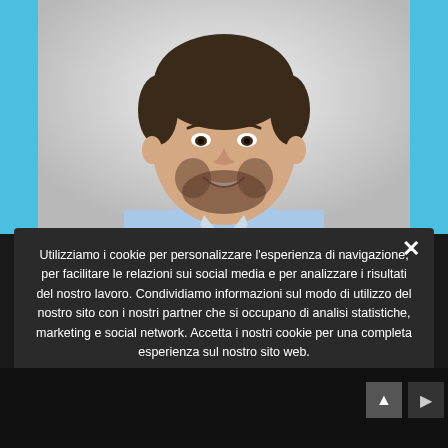[Figure (photo): Portrait photo of a smiling man with short dark hair and beard, wearing a light blue button-up shirt, against a light gray gradient background. Blue side bars flank the photo.]
Utilizziamo i cookie per personalizzare l'esperienza di navigazione, per facilitare le relazioni sui social media e per analizzare i risultati del nostro lavoro. Condividiamo informazioni sul modo di utilizzo del nostro sito con i nostri partner che si occupano di analisi statistiche, marketing e social network. Accetta i nostri cookie per una completa esperienza sul nostro sito web.
❯ Privacy Preferences
I Agree